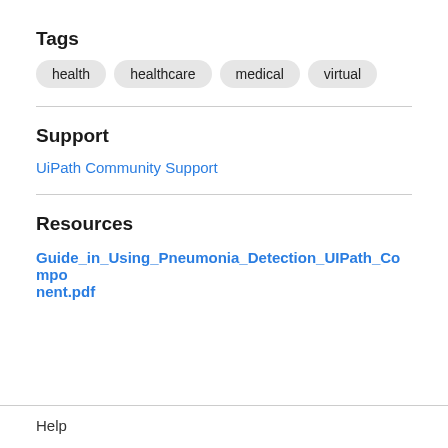Tags
health
healthcare
medical
virtual
Support
UiPath Community Support
Resources
Guide_in_Using_Pneumonia_Detection_UIPath_Component.pdf
Help